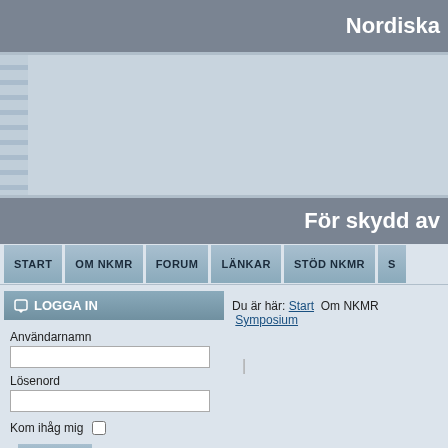Nordiska
[Figure (screenshot): Banner/advertisement area with light blue-grey background]
För skydd av
START  OM NKMR  FORUM  LÄNKAR  STÖD NKMR
LOGGA IN
Du är här: Start  Om NKMR  Symposium
Användarnamn
Lösenord
Kom ihåg mig
Logga in
Glömt lösenord?
Glömt användarnamn?
Skapa inloggning
STÖD NKMR